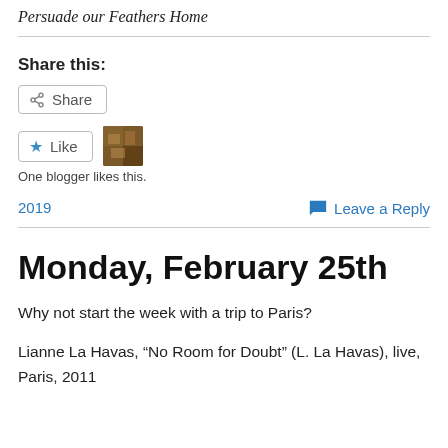Persuade our Feathers Home
Share this:
Share
Like
One blogger likes this.
2019
Leave a Reply
Monday, February 25th
Why not start the week with a trip to Paris?
Lianne La Havas, “No Room for Doubt” (L. La Havas), live, Paris, 2011